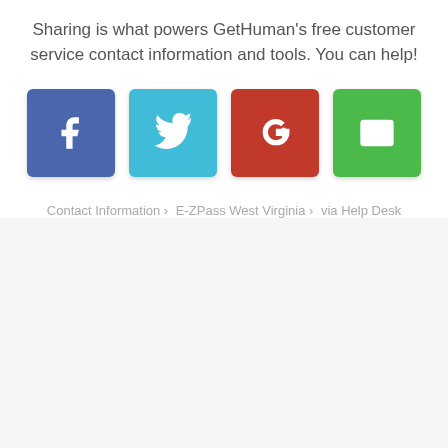Sharing is what powers GetHuman's free customer service contact information and tools. You can help!
[Figure (infographic): Four social sharing buttons in a row: Facebook (blue), Twitter (cyan), Google+ (red), Email (green), each as a rounded square icon]
Contact Information › E-ZPass West Virginia › via Help Desk